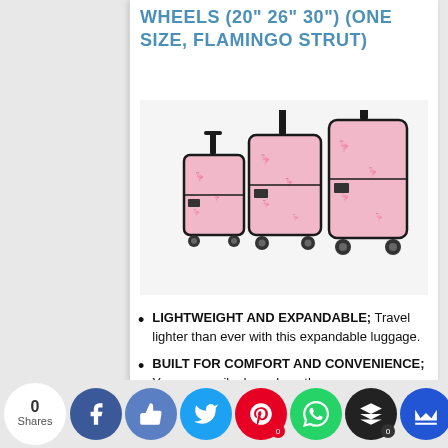WHEELS (20" 26" 30") (ONE SIZE, FLAMINGO STRUT)
[Figure (photo): Three pink flamingo-print spinner luggage pieces in small, medium, and large sizes with black trim and spinner wheels]
LIGHTWEIGHT AND EXPANDABLE; Travel lighter than ever with this expandable luggage.
BUILT FOR COMFORT AND CONVENIENCE; You can easily drag along the ...